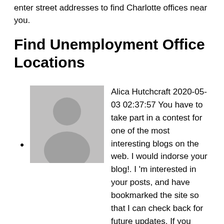enter street addresses to find Charlotte offices near you.
Find Unemployment Office Locations
[Figure (photo): Gray placeholder avatar image of a person silhouette]
Alica Hutchcraft 2020-05-03 02:37:57 You have to take part in a contest for one of the most interesting blogs on the web. I would indorse your blog!. I 'm interested in your posts, and have bookmarked the site so that I can check back for future updates. If you have a second check out my website.